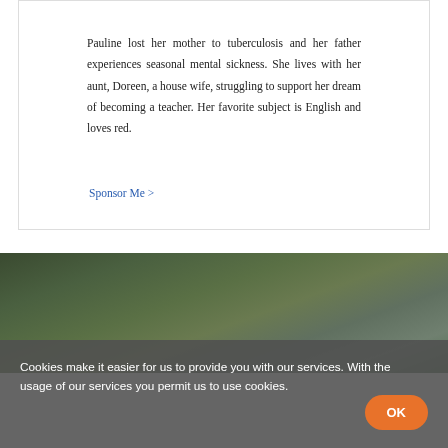Pauline lost her mother to tuberculosis and her father experiences seasonal mental sickness. She lives with her aunt, Doreen, a house wife, struggling to support her dream of becoming a teacher. Her favorite subject is English and loves red.
Sponsor Me >
[Figure (photo): Blurred outdoor photo with dark green foliage background]
Cookies make it easier for us to provide you with our services. With the usage of our services you permit us to use cookies.